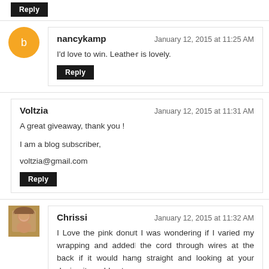Reply (button at top)
nancykamp — January 12, 2015 at 11:25 AM
I'd love to win. Leather is lovely.
Reply
Voltzia — January 12, 2015 at 11:31 AM
A great giveaway, thank you !
I am a blog subscriber,
voltzia@gmail.com
Reply
Chrissi — January 12, 2015 at 11:32 AM
I Love the pink donut I was wondering if I varied my wrapping and added the cord through wires at the back if it would hang straight and looking at your design it would not